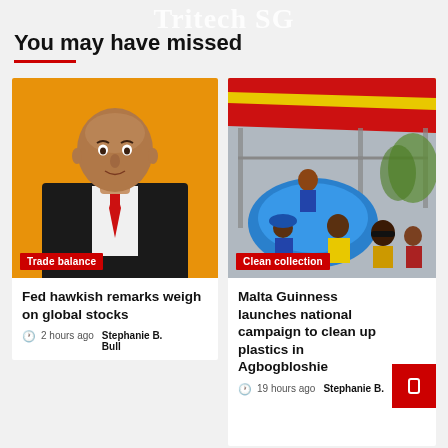Tritech SG
You may have missed
[Figure (photo): Headshot of a bald man in a black suit and red tie, in front of an orange background. Tag: Trade balance]
[Figure (photo): Outdoor scene with people holding a large blue inflatable/object under a yellow and red striped tent structure. Tag: Clean collection]
Fed hawkish remarks weigh on global stocks
2 hours ago  Stephanie B. Bull
Malta Guinness launches national campaign to clean up plastics in Agbogbloshie
19 hours ago  Stephanie B.